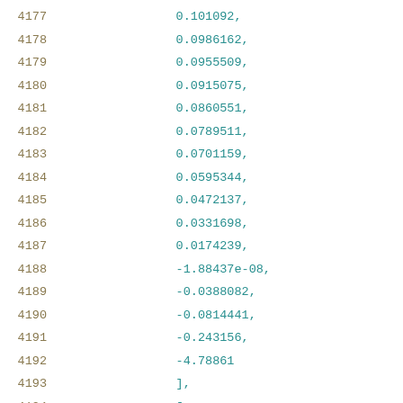4177    0.101092,
4178    0.0986162,
4179    0.0955509,
4180    0.0915075,
4181    0.0860551,
4182    0.0789511,
4183    0.0701159,
4184    0.0595344,
4185    0.0472137,
4186    0.0331698,
4187    0.0174239,
4188    -1.88437e-08,
4189    -0.0388082,
4190    -0.0814441,
4191    -0.243156,
4192    -4.78861
4193    ],
4194    [
4195        2.76144,
4196        0.0967384,
4197        0.0867351,